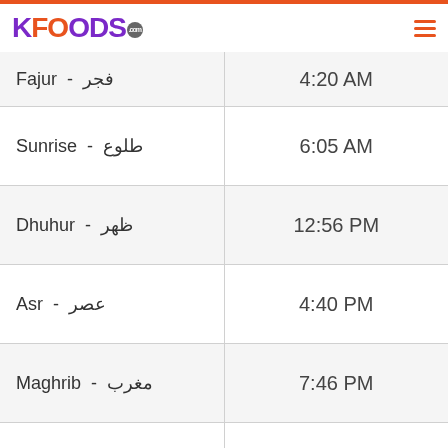KFOODS.com
| Prayer | Time |
| --- | --- |
| Fajur - فجر | 4:20 AM |
| Sunrise - طلوع | 6:05 AM |
| Dhuhur - ظهر | 12:56 PM |
| Asr - عصر | 4:40 PM |
| Maghrib - مغرب | 7:46 PM |
| Isha - عشاء | 9:30 PM |